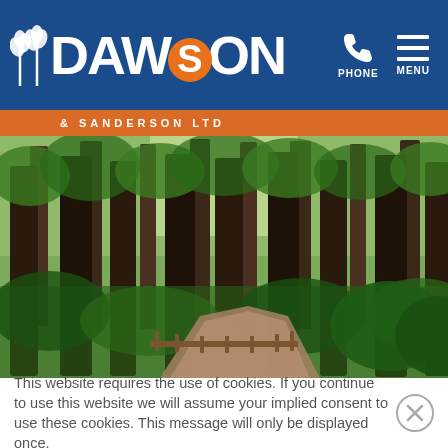[Figure (logo): Dawson & Sanderson Ltd logo with palm trees and orange sun on blue background header, with PHONE and MENU navigation icons]
[Figure (photo): Forest of tall redwood trees with lush green undergrowth and a wooden pathway/bridge in the foreground]
This website requires the use of cookies. If you continue to use this website we will assume your implied consent to use these cookies. This message will only be displayed once.